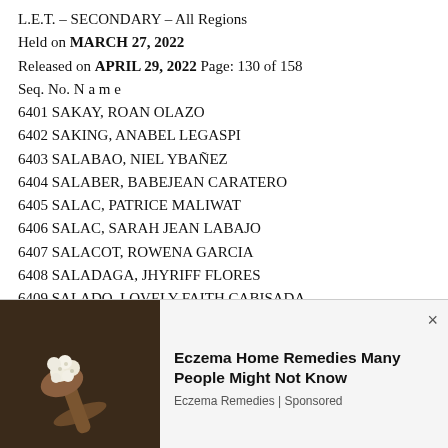L.E.T. – SECONDARY – All Regions
Held on MARCH 27, 2022
Released on APRIL 29, 2022 Page: 130 of 158
Seq. No. N a m e
6401 SAKAY, ROAN OLAZO
6402 SAKING, ANABEL LEGASPI
6403 SALABAO, NIEL YBAÑEZ
6404 SALABER, BABEJEAN CARATERO
6405 SALAC, PATRICE MALIWAT
6406 SALAC, SARAH JEAN LABAJO
6407 SALACOT, ROWENA GARCIA
6408 SALADAGA, JHYRIFF FLORES
6409 SALADO, LOVELY FAITH CABISADA
6410 SALAGUBANG, JANETTE MANTILE
6411 SALAH, NASIAH WATAMAMA
[Figure (infographic): Advertisement overlay: Eczema Home Remedies Many People Might Not Know — Eczema Remedies | Sponsored, with image of cauliflower/mushrooms on a wooden spoon and a close button (×)]